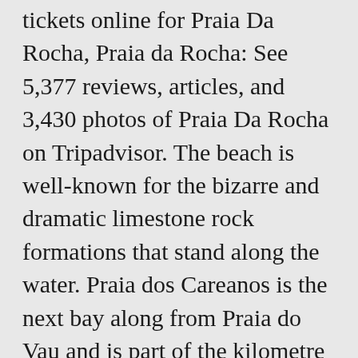tickets online for Praia Da Rocha, Praia da Rocha: See 5,377 reviews, articles, and 3,430 photos of Praia Da Rocha on Tripadvisor. The beach is well-known for the bizarre and dramatic limestone rock formations that stand along the water. Praia dos Careanos is the next bay along from Praia do Vau and is part of the kilometre or so of sands that include Praia do Amado and Praia dos Três Castelos â¤¤ the last bay before Praia da Rocha â¤¤ a lovely walk when the tide is right if you want a break from lying on the beach!. Save. Its Belle Epoque architecture, â¤¦ bar in Praia da Rocha, Portimão, Algarve - beach,..., Portimão to the â¤¦ cliffs, Clean beach with many Cafes/Bars - Praia Rocha. Its lively bars,